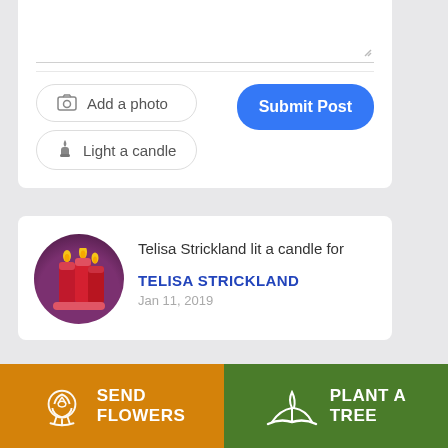[Figure (screenshot): Post form area with textarea, Add a photo button, Light a candle button, and Submit Post button]
Telisa Strickland lit a candle for
TELISA STRICKLAND
Jan 11, 2019
SEND FLOWERS
PLANT A TREE